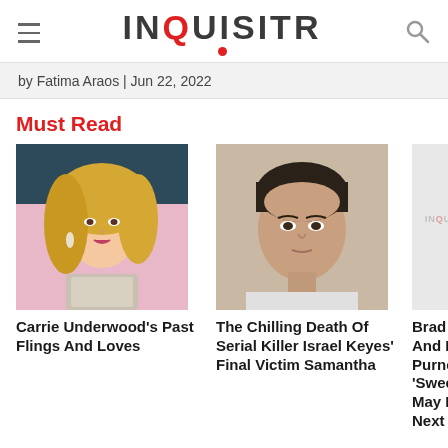INQUISITR
by Fatima Araos | Jun 22, 2022
Must Read
[Figure (photo): Photo of Carrie Underwood, female celebrity with blonde hair and sparkly outfit]
Carrie Underwood's Past Flings And Loves
[Figure (photo): Mugshot style photo of Israel Keyes, male with dark hair]
The Chilling Death Of Serial Killer Israel Keyes' Final Victim Samantha
[Figure (logo): Inquisitr logo placeholder for Brad Pitt article]
Brad Pitt And Ell Purnell's 'Sweetbitter' May Be Your Next